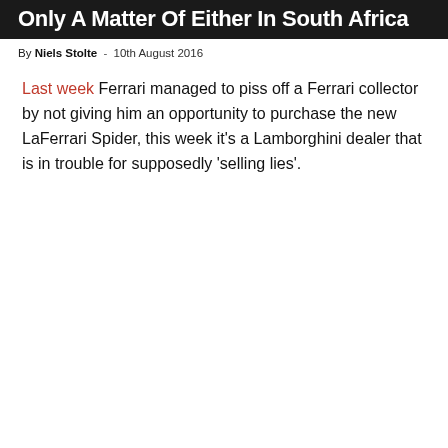Only A Matter Of Either In South Africa
By Niels Stolte - 10th August 2016
Last week Ferrari managed to piss off a Ferrari collector by not giving him an opportunity to purchase the new LaFerrari Spider, this week it's a Lamborghini dealer that is in trouble for supposedly 'selling lies'.